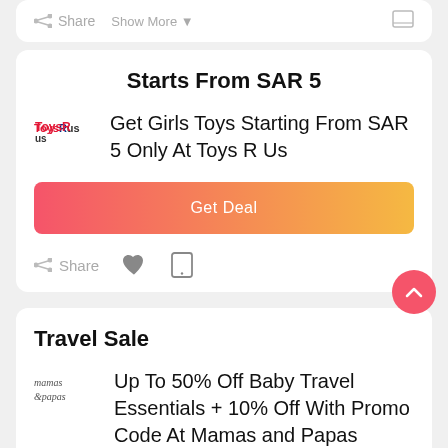[Figure (screenshot): Top partial card showing Share and Show More icons at the top, partially visible from previous scroll]
Starts From SAR 5
Get Girls Toys Starting From SAR 5 Only At Toys R Us
Get Deal
Share
Travel Sale
Up To 50% Off Baby Travel Essentials + 10% Off With Promo Code At Mamas and Papas